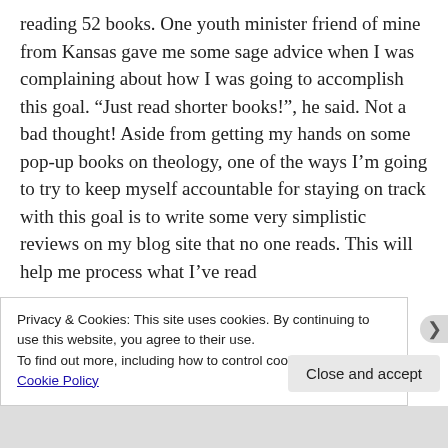reading 52 books. One youth minister friend of mine from Kansas gave me some sage advice when I was complaining about how I was going to accomplish this goal. “Just read shorter books!”, he said. Not a bad thought! Aside from getting my hands on some pop-up books on theology, one of the ways I’m going to try to keep myself accountable for staying on track with this goal is to write some very simplistic reviews on my blog site that no one reads. This will help me process what I’ve read
Privacy & Cookies: This site uses cookies. By continuing to use this website, you agree to their use.
To find out more, including how to control cookies, see here: Cookie Policy
Close and accept